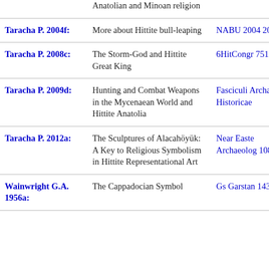| Author | Title | Publication |
| --- | --- | --- |
|  | Anatolian and Minoan religion |  |
| Taracha P. 2004f: | More about Hittite bull-leaping | NABU 2004 2004/53 |
| Taracha P. 2008c: | The Storm-God and Hittite Great King | 6HitCongr 751 |
| Taracha P. 2009d: | Hunting and Combat Weapons in the Mycenaean World and Hittite Anatolia | Fasciculi Archaeologici Historicae |
| Taracha P. 2012a: | The Sculptures of Alacahöyük: A Key to Religious Symbolism in Hittite Representational Art | Near Eastern Archaeology 108-114 |
| Wainwright G.A. 1956a: | The Cappadocian Symbol | Gs Garstan 143 |